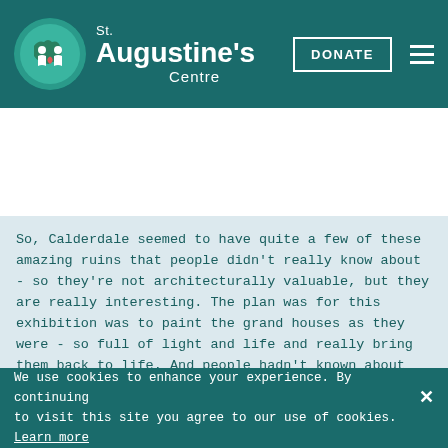St. Augustine's Centre — DONATE
So, Calderdale seemed to have quite a few of these amazing ruins that people didn't really know about - so they're not architecturally valuable, but they are really interesting. The plan was for this exhibition was to paint the grand houses as they were - so full of light and life and really bring them back to life. And people hadn't known about them, at all - they might have seen a very old black-and-white photograph - and I was painting them in full colour, in places that they knew and then telling them a little bit about the history, or the people or the stories.
We use cookies to enhance your experience. By continuing to visit this site you agree to our use of cookies. Learn more